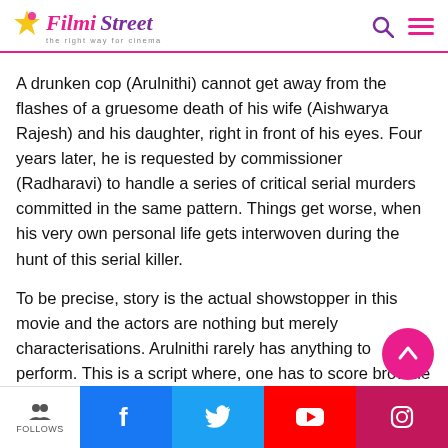Filmi Street — the right way for cinema
A drunken cop (Arulnithi) cannot get away from the flashes of a gruesome death of his wife (Aishwarya Rajesh) and his daughter, right in front of his eyes. Four years later, he is requested by commissioner (Radharavi) to handle a series of critical serial murders committed in the same pattern. Things get worse, when his very own personal life gets interwoven during the hunt of this serial killer.
To be precise, story is the actual showstopper in this movie and the actors are nothing but merely characterisations. Arulnithi rarely has anything to perform. This is a script where, one has to score brownie points through mannerisms and body language. It is a film meant actually from main lead heroes like Vikram, Suriya, Vishal or Arya. But nothing to
FOLLOWS | Facebook | Twitter | YouTube | Instagram